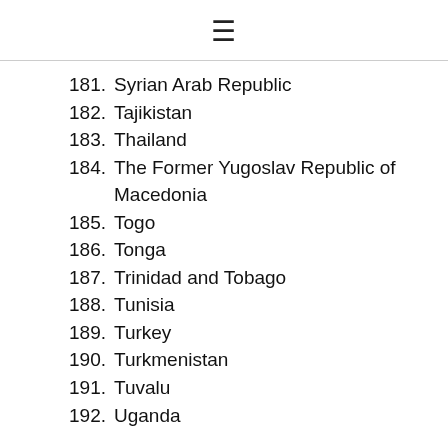≡
181. Syrian Arab Republic
182. Tajikistan
183. Thailand
184. The Former Yugoslav Republic of Macedonia
185. Togo
186. Tonga
187. Trinidad and Tobago
188. Tunisia
189. Turkey
190. Turkmenistan
191. Tuvalu
192. Uganda